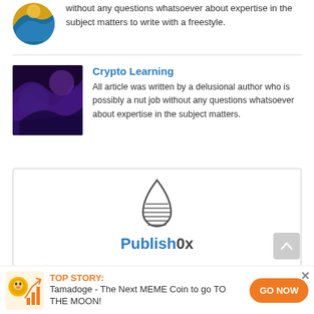without any questions whatsoever about expertise in the subject matters to write with a freestyle.
[Figure (illustration): Circular avatar image with mountain/wave scene, yellow and blue tones]
Crypto Learning
All article was written by a delusional author who is possibly a nut job without any questions whatsoever about expertise in the subject matters.
[Figure (illustration): Square image with dark blue and purple cosmic/wave texture]
[Figure (logo): Publish0x logo — a water droplet icon above the text Publish0x in blue and dark gray]
[Figure (illustration): Banner ad icon: Tamadoge coin with dog face, bar chart and arrow graphic in orange/gold tones]
TOP STORY:
Tamadoge - The Next MEME Coin to go TO THE MOON!